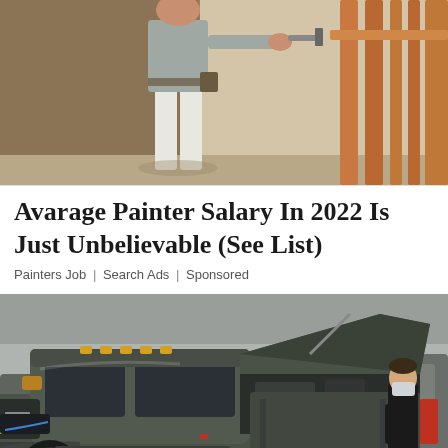[Figure (photo): A person in white work clothes painting a wall or staircase area indoors, viewed from a low angle. Wooden railing visible on the right side.]
Avarage Painter Salary In 2022 Is Just Unbelievable (See List)
Painters Job | Search Ads | Sponsored
[Figure (photo): A dark grey RAM pickup truck with hood open, displayed in what appears to be an indoor auto show or dealership. A person wearing a mask stands near the engine bay on the right.]